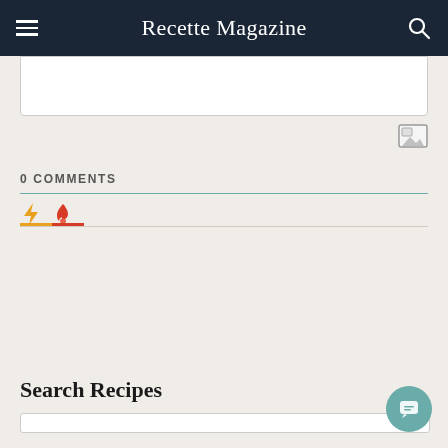Recette Magazine
0 COMMENTS
Search Recipes